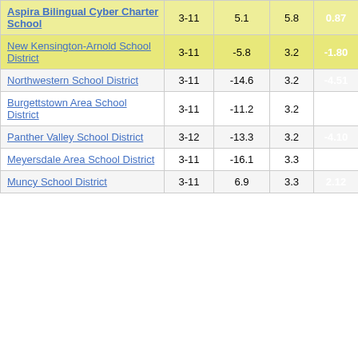| School/District | Grades | Change | Target | Score |  |
| --- | --- | --- | --- | --- | --- |
| Aspira Bilingual Cyber Charter School | 3-11 | 5.1 | 5.8 | 0.87 |  |
| New Kensington-Arnold School District | 3-11 | -5.8 | 3.2 | -1.80 |  |
| Northwestern School District | 3-11 | -14.6 | 3.2 | -4.51 |  |
| Burgettstown Area School District | 3-11 | -11.2 | 3.2 | -3.46 |  |
| Panther Valley School District | 3-12 | -13.3 | 3.2 | -4.10 |  |
| Meyersdale Area School District | 3-11 | -16.1 | 3.3 | -4.94 |  |
| Muncy School District | 3-11 | 6.9 | 3.3 | 2.12 |  |